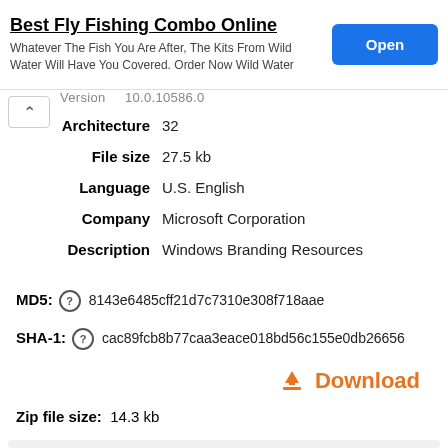[Figure (screenshot): Ad banner for Best Fly Fishing Combo Online with Open button]
| Architecture | 32 |
| File size | 27.5 kb |
| Language | U.S. English |
| Company | Microsoft Corporation |
| Description | Windows Branding Resources |
MD5: 8143e6485cff21d7c7310e308f718aae
SHA-1: cac89fcb8b77caa3eace018bd56c155e0db26656
Download
Zip file size: 14.3 kb
| Version | 10.0.10586.0 |
| Architecture | 64 |
| File size | 35 kb |